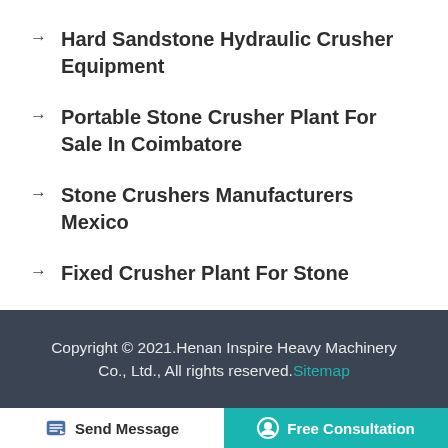Hard Sandstone Hydraulic Crusher Equipment
Portable Stone Crusher Plant For Sale In Coimbatore
Stone Crushers Manufacturers Mexico
Fixed Crusher Plant For Stone
Copyright © 2021.Henan Inspire Heavy Machinery Co., Ltd., All rights reserved. Sitemap
Send Message   Free Consultation